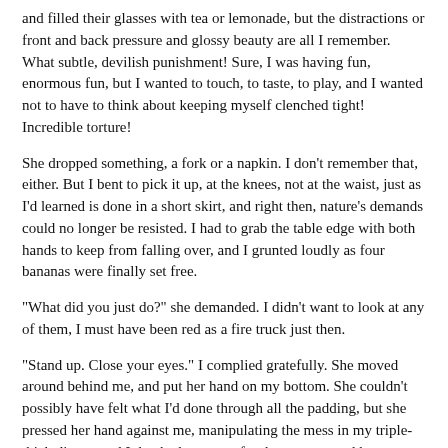and filled their glasses with tea or lemonade, but the distractions or front and back pressure and glossy beauty are all I remember. What subtle, devilish punishment! Sure, I was having fun, enormous fun, but I wanted to touch, to taste, to play, and I wanted not to have to think about keeping myself clenched tight! Incredible torture!
She dropped something, a fork or a napkin. I don't remember that, either. But I bent to pick it up, at the knees, not at the waist, just as I'd learned is done in a short skirt, and right then, nature's demands could no longer be resisted. I had to grab the table edge with both hands to keep from falling over, and I grunted loudly as four bananas were finally set free.
"What did you just do?" she demanded. I didn't want to look at any of them, I must have been red as a fire truck just then.
"Stand up. Close your eyes." I complied gratefully. She moved around behind me, and put her hand on my bottom. She couldn't possibly have felt what I'd done through all the padding, but she pressed her hand against me, manipulating the mess in my triple-thick diaper, and I thanked my stars for that enema, and her blessed lack of interest in playing with real bodily waste.
"Dirty girl! Dirty, dirty, dirty," she said as she pressed.